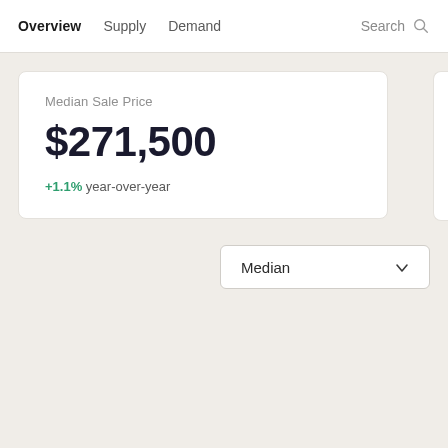Overview  Supply  Demand  Search
Median Sale Price
$271,500
+1.1% year-over-year
Median